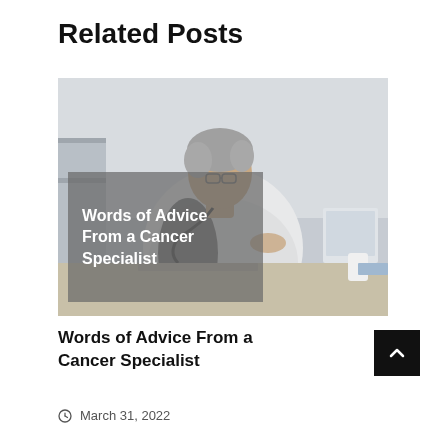Related Posts
[Figure (photo): Elderly female doctor in white coat with stethoscope seated at desk, smiling, with a semi-transparent gray overlay box containing the text 'Words of Advice From a Cancer Specialist']
Words of Advice From a Cancer Specialist
March 31, 2022